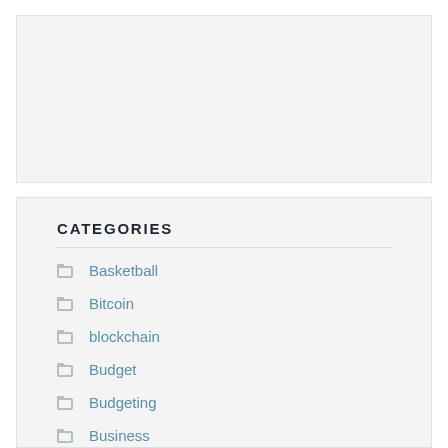[Figure (other): Empty light grey box representing an advertisement or image placeholder area]
CATEGORIES
Basketball
Bitcoin
blockchain
Budget
Budgeting
Business